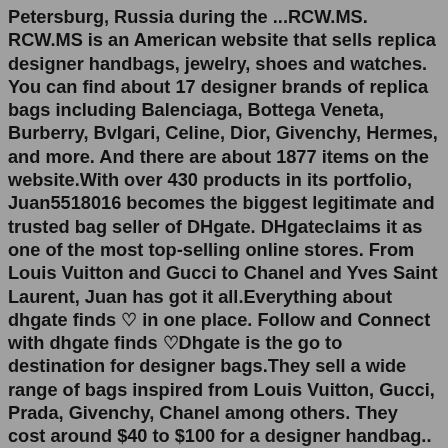Petersburg, Russia during the ...RCW.MS. RCW.MS is an American website that sells replica designer handbags, jewelry, shoes and watches. You can find about 17 designer brands of replica bags including Balenciaga, Bottega Veneta, Burberry, Bvlgari, Celine, Dior, Givenchy, Hermes, and more. And there are about 1877 items on the website.With over 430 products in its portfolio, Juan5518016 becomes the biggest legitimate and trusted bag seller of DHgate. DHgateclaims it as one of the most top-selling online stores. From Louis Vuitton and Gucci to Chanel and Yves Saint Laurent, Juan has got it all.Everything about dhgate finds ♡ in one place. Follow and Connect with dhgate finds ♡Dhgate is the go to destination for designer bags.They sell a wide range of bags inspired from Louis Vuitton, Gucci, Prada, Givenchy, Chanel among others. They cost around $40 to $100 for a designer handbag.. Dismiss. Who pays for your reps? Do you set aside a budget for your rep (or general fashion) purchases? I pay for all my